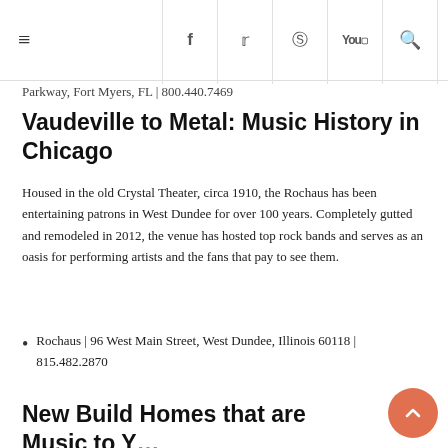≡  f  y  ®  You  🔍
Parkway, Fort Myers, FL | 800.440.7469
Vaudeville to Metal: Music History in Chicago
Housed in the old Crystal Theater, circa 1910, the Rochaus has been entertaining patrons in West Dundee for over 100 years. Completely gutted and remodeled in 2012, the venue has hosted top rock bands and serves as an oasis for performing artists and the fans that pay to see them.
Rochaus | 96 West Main Street, West Dundee, Illinois 60118 | 815.482.2870
New Build Homes that are Music to Your Ears